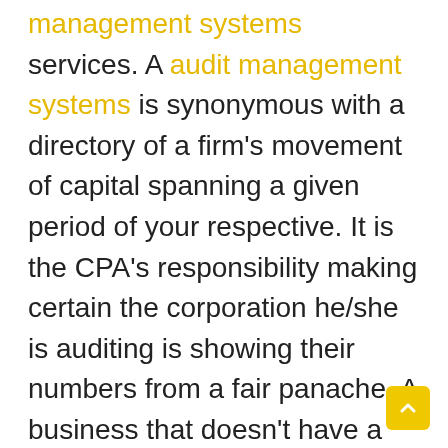management systems services. A audit management systems is synonymous with a directory of a firm's movement of capital spanning a given period of your respective. It is the CPA's responsibility making certain the corporation he/she is auditing is showing their numbers from a fair panache. A business that doesn't have a CPA's approval during a monetary audit can face legalities.

How should we take what medical